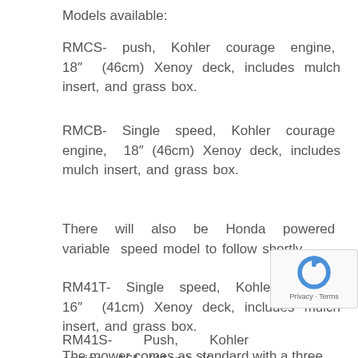Models available:
RMCS-  push,  Kohler  courage  engine,  18″  (46cm) Xenoy deck, includes mulch insert, and grass box.
RMCB-  Single  speed,  Kohler  courage  engine,  18″ (46cm) Xenoy deck, includes mulch insert, and grass box.
There  will  also  be  Honda  powered  variable  speed model to follow shortly.
RM41T-  Single  speed,  Kohler  engine,  16″  (41cm) Xenoy deck, includes mulch insert, and grass box.
RM41S-  Push,  Kohler  engine,  16″  (41cm)  X— deck, includes mulch insert, and grass box.
The mower comes as standard with a three year...